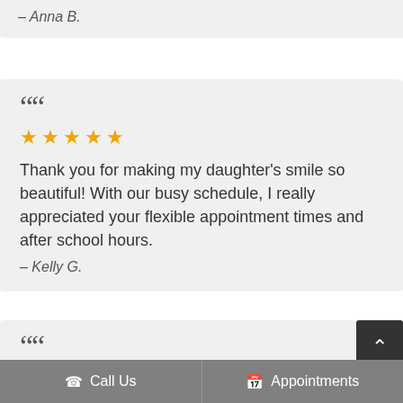– Anna B.
Thank you for making my daughter's smile so beautiful! With our busy schedule, I really appreciated your flexible appointment times and after school hours.
– Kelly G.
5 stars (second review, partial)
Call Us   Appointments